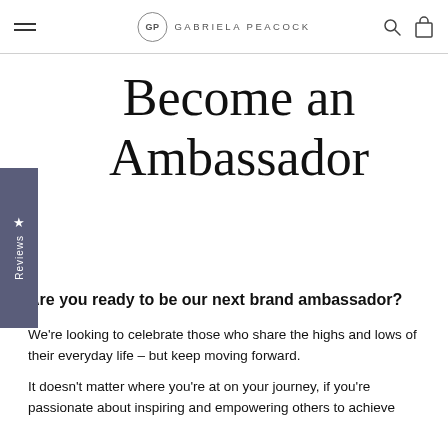GP GABRIELA PEACOCK
Become an Ambassador
Are you ready to be our next brand ambassador?
We're looking to celebrate those who share the highs and lows of their everyday life – but keep moving forward.
It doesn't matter where you're at on your journey, if you're passionate about inspiring and empowering others to achieve